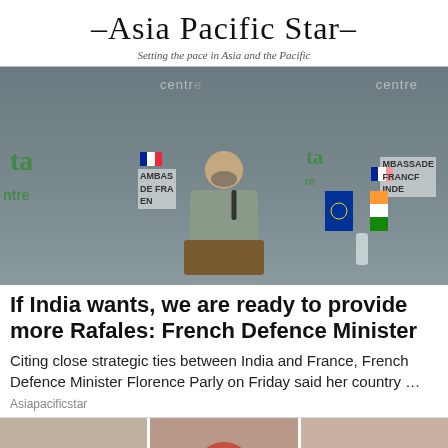–Asia Pacific Star–
Setting the pace in Asia and the Pacific
[Figure (photo): Photo of French Defence Minister Florence Parly at a press conference podium with French and Indian flags visible and 'Ambassade de France en Inde' signage in background]
If India wants, we are ready to provide more Rafales: French Defence Minister
Citing close strategic ties between India and France, French Defence Minister Florence Parly on Friday said her country ...
Asiapacificstar
[Figure (screenshot): Partially visible second article image showing three columns with a reddish/copper colored thumbnail preview]